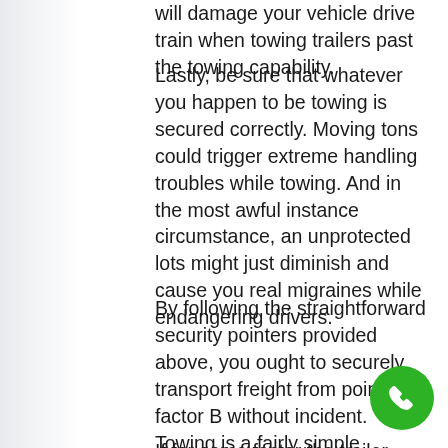will damage your vehicle drive train when towing trailers past the towing capability.
Lastly, be sure that whatever you happen to be towing is secured correctly. Moving tons could trigger extreme handling troubles while towing. And in the most awful instance circumstance, an unprotected lots might just diminish and cause you real migraines while endangering drivers.
By following the straightforward security pointers provided above, you ought to securely transport freight from point A to factor B without incident. Towing is a fairly simple treatment yet it must just be done when security is made concern one.
If for some factor the trailer comes to a ...